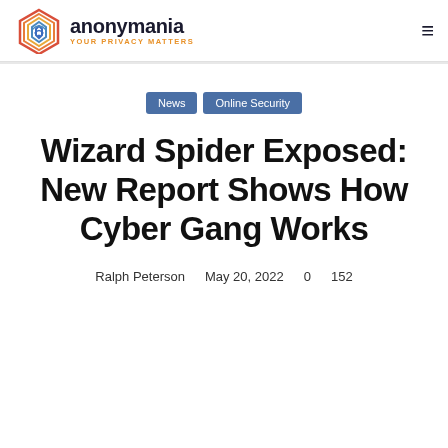anonymania — YOUR PRIVACY MATTERS
News
Online Security
Wizard Spider Exposed: New Report Shows How Cyber Gang Works
Ralph Peterson   May 20, 2022   0   152